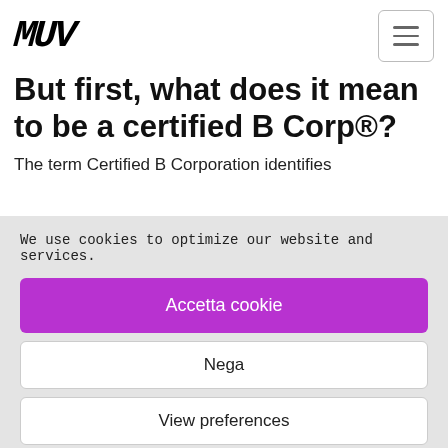MUV [logo] + hamburger menu
But first, what does it mean to be a certified B Corp®?
The term Certified B Corporation identifies
We use cookies to optimize our website and services.
Accetta cookie
Nega
View preferences
Privacy Policy  Privacy Policy